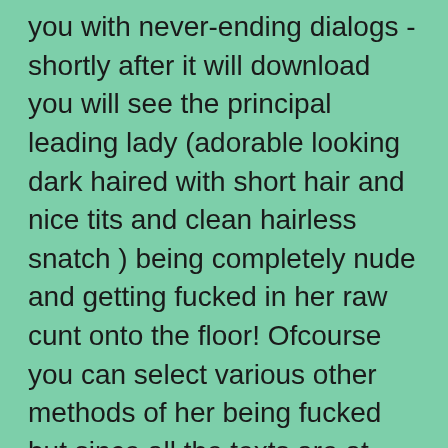you with never-ending dialogs - shortly after it will download you will see the principal leading lady (adorable looking dark haired with short hair and nice tits and clean hairless snatch ) being completely nude and getting fucked in her raw cunt onto the floor! Ofcourse you can select various other methods of her being fucked but since all the texts are at japanese they'll be quite surprisng for you (in case you don't understand the language ofcourse) however"surprising" less"shocking" but as"you do not understand what exactly you're picking for but it is going to be something hot for certain". When the counter will reach a